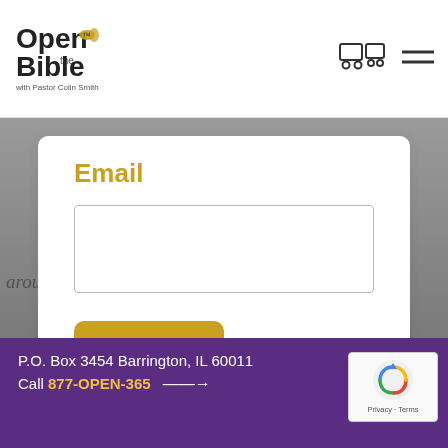[Figure (logo): Open the Bible logo with bee icon and 'with Pastor Colin Smith' subtitle]
[Figure (illustration): Shopping cart icon and hamburger menu icon in header]
Email
[Figure (screenshot): Email input text field (empty)]
[Figure (screenshot): Submit button (gold/yellow rounded rectangle)]
[Figure (photo): Background image showing old Bible text in italic script]
P.O. Box 3454 Barrington, IL 60011
Call 877-OPEN-365 →
[Figure (logo): reCAPTCHA badge with Privacy and Terms links]